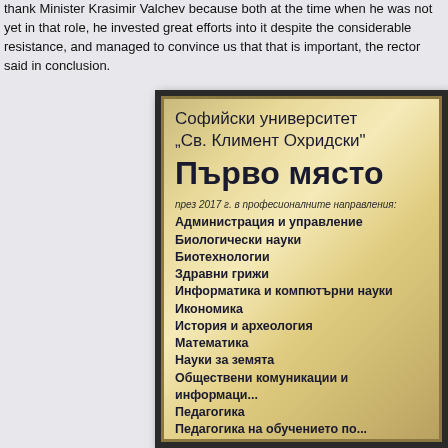thank Minister Krasimir Valchev because both at the time when he was not yet in that role, he invested great efforts into it despite the considerable resistance, and managed to convince us that that is important, the rector said in conclusion.
[Figure (photo): A gold/bronze award plaque for Sofia University 'St. Kliment Ohridski' showing first place in various professional fields during 2017. The plaque has a metallic golden background with dark border. Text is in Bulgarian. Title reads 'Sofiyski universitet Sv. Kliment Ohridski' then 'Purvo myasto' (First place), followed by a list of professional fields.]